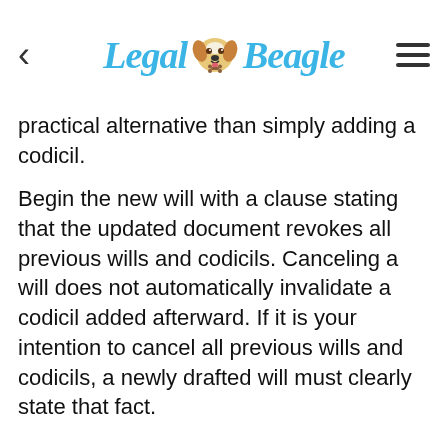Legal Beagle
practical alternative than simply adding a codicil.
Begin the new will with a clause stating that the updated document revokes all previous wills and codicils. Canceling a will does not automatically invalidate a codicil added afterward. If it is your intention to cancel all previous wills and codicils, a newly drafted will must clearly state that fact.
Consider all the situations that have changed since you wrote your last will. Naming a new executor may not be the only revision needed. If it has been more than five years, it may be necessary to revalue your estate.
Sign and date the will. Have at least two witnesses